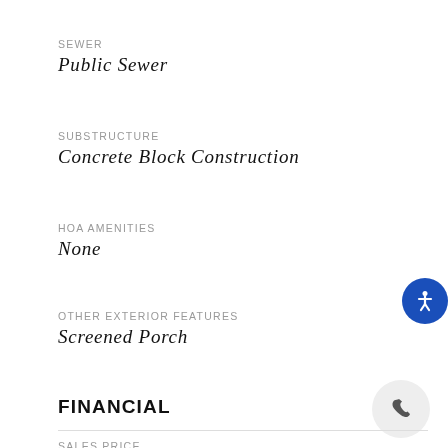SEWER
Public Sewer
SUBSTRUCTURE
Concrete Block Construction
HOA AMENITIES
None
OTHER EXTERIOR FEATURES
Screened Porch
FINANCIAL
SALES PRICE